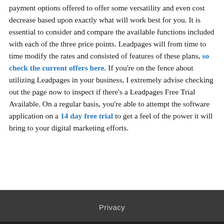payment options offered to offer some versatility and even cost decrease based upon exactly what will work best for you. It is essential to consider and compare the available functions included with each of the three price points. Leadpages will from time to time modify the rates and consisted of features of these plans, so check the current offers here. If you're on the fence about utilizing Leadpages in your business, I extremely advise checking out the page now to inspect if there's a Leadpages Free Trial Available. On a regular basis, you're able to attempt the software application on a 14 day free trial to get a feel of the power it will bring to your digital marketing efforts.
Privacy